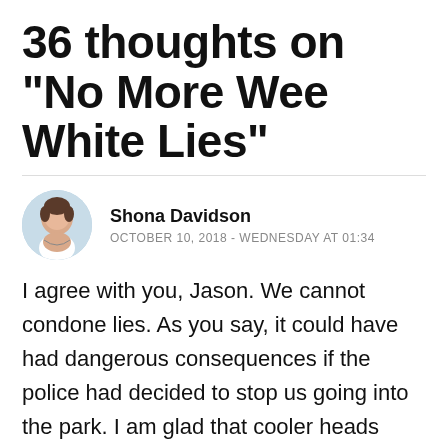36 thoughts on "No More Wee White Lies"
Shona Davidson
OCTOBER 10, 2018 - WEDNESDAY AT 01:34
I agree with you, Jason. We cannot condone lies. As you say, it could have had dangerous consequences if the police had decided to stop us going into the park. I am glad that cooler heads prevailed as many disabled, elderly and children may not have been so safe. I am thankful to the police. However I would